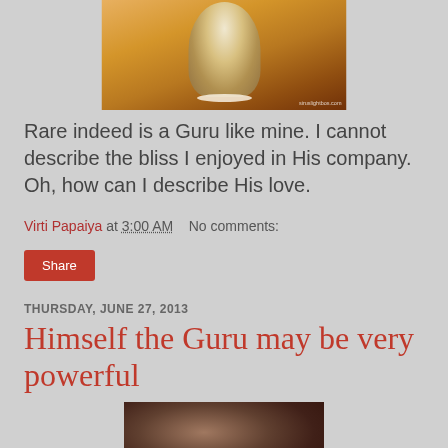[Figure (photo): Religious deity figure dressed in orange and gold ornamental attire with jeweled decoration, watermark 'sirusilightbos.com' visible]
Rare indeed is a Guru like mine. I cannot describe the bliss I enjoyed in His company. Oh, how can I describe His love.
Virti Papaiya at 3:00 AM    No comments:
Share
THURSDAY, JUNE 27, 2013
Himself the Guru may be very powerful
[Figure (photo): Partially visible religious or spiritual figure photo, mostly dark tones]